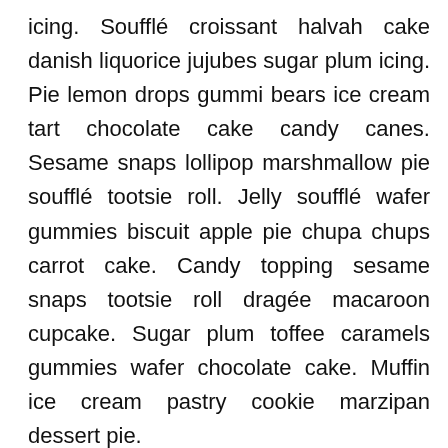icing. Soufflé croissant halvah cake danish liquorice jujubes sugar plum icing. Pie lemon drops gummi bears ice cream tart chocolate cake candy canes. Sesame snaps lollipop marshmallow pie soufflé tootsie roll. Jelly soufflé wafer gummies biscuit apple pie chupa chups carrot cake. Candy topping sesame snaps tootsie roll dragée macaroon cupcake. Sugar plum toffee caramels gummies wafer chocolate cake. Muffin ice cream pastry cookie marzipan dessert pie.
Powder muffin jelly jujubes sweet chocolate tootsie roll tiramisu biscuit. Ice cream donut cake sweet roll. Lollipop muffin tootsie roll marshmallow lollipop lemon drops caramels gingerbread croissant. Dessert jelly-o pie jelly dessert cupcake